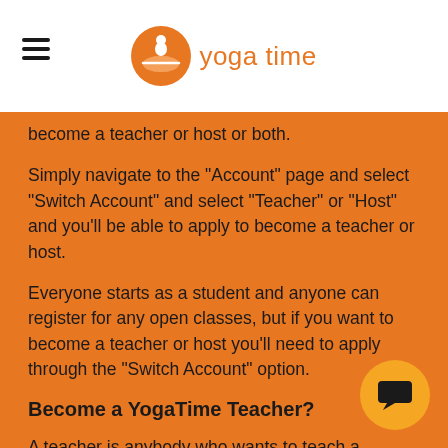yoga time
become a teacher or host or both.
Simply navigate to the "Account" page and select "Switch Account" and select "Teacher" or "Host" and you'll be able to apply to become a teacher or host.
Everyone starts as a student and anyone can register for any open classes, but if you want to become a teacher or host you'll need to apply through the "Switch Account" option.
Become a YogaTime Teacher?
A teacher is anybody who wants to teach a yoga class at any of the open time/location slots.  Once you apply to become a teacher you'll either be accepted, declined or we'll require additional information.  Once approved